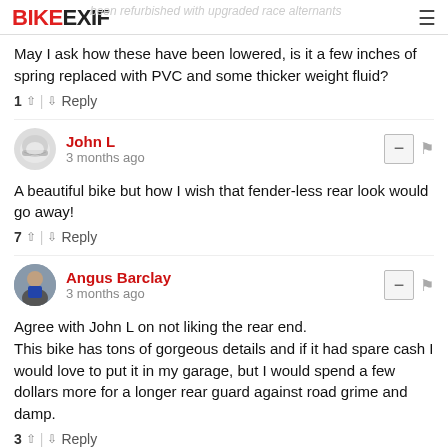BIKEEXIF
May I ask how these have been lowered, is it a few inches of spring replaced with PVC and some thicker weight fluid?
1 ↑ | ↓ Reply
John L · 3 months ago
A beautiful bike but how I wish that fender-less rear look would go away!
7 ↑ | ↓ Reply
Angus Barclay · 3 months ago
Agree with John L on not liking the rear end.
This bike has tons of gorgeous details and if it had spare cash I would love to put it in my garage, but I would spend a few dollars more for a longer rear guard against road grime and damp.
3 ↑ | ↓ Reply
Larry Kohn